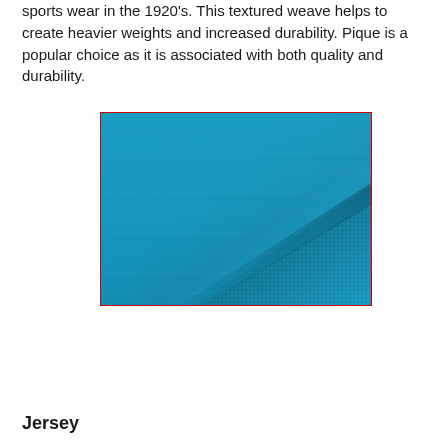sports wear in the 1920's. This textured weave helps to create heavier weights and increased durability. Pique is a popular choice as it is associated with both quality and durability.
[Figure (photo): Close-up photograph of teal/blue pique fabric showing the textured weave pattern with a diagonal fold line across the fabric]
Jersey